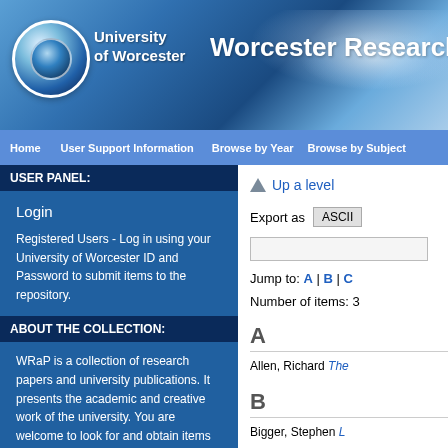[Figure (logo): University of Worcester logo with circular globe icon and text 'University of Worcester' next to 'Worcester Research' header on blue sky background]
University of Worcester  Worcester Research
Home  User Support Information  Browse by Year  Browse by Subject
USER PANEL:
Login
Registered Users - Log in using your University of Worcester ID and Password to submit items to the repository.
ABOUT THE COLLECTION:
WRaP is a collection of research papers and university publications. It presents the academic and creative work of the university. You are welcome to look for and obtain items of interest and make contact with the authors and creators.
CONTACT DETAILS:
All correspondence about WRaP
Up a level
Export as  ASCII
Jump to: A | B | C
Number of items: 3
A
Allen, Richard The
B
Bigger, Stephen L